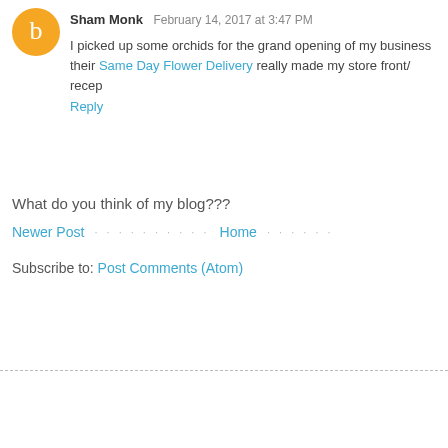Sham Monk  February 14, 2017 at 3:47 PM
I picked up some orchids for the grand opening of my business their Same Day Flower Delivery really made my store front/ recep
Reply
What do you think of my blog???
Newer Post · · · · · · · · · · Home · · · · · ·
Subscribe to: Post Comments (Atom)